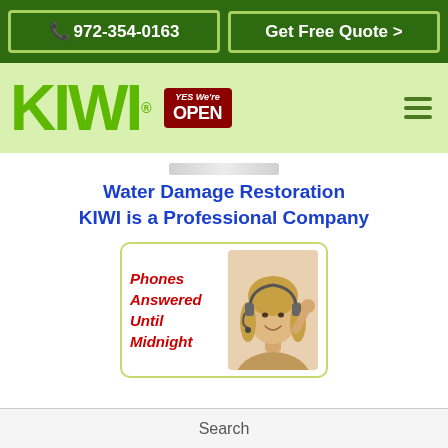972-354-0163 | Get Free Quote >
[Figure (logo): KIWI logo in green with registered trademark symbol, Yes We're Open badge in red, hamburger menu icon]
Water Damage Restoration KIWI is a Professional Company
[Figure (photo): Woman smiling with phone headset, text overlay: Phones Answered Until Midnight]
Search